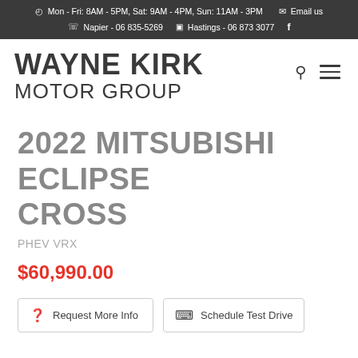Mon - Fri: 8AM - 5PM, Sat: 9AM - 4PM, Sun: 11AM - 3PM  Email us  Napier - 06 835-5269  Hastings - 06 873 3077
WAYNE KIRK MOTOR GROUP
2022 MITSUBISHI ECLIPSE CROSS
PHEV VRX
$60,990.00
Request More Info
Schedule Test Drive